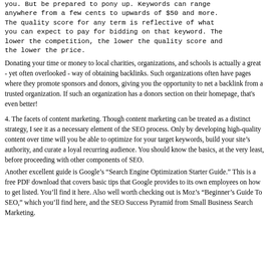you. But be prepared to pony up. Keywords can range anywhere from a few cents to upwards of $50 and more. The quality score for any term is reflective of what you can expect to pay for bidding on that keyword. The lower the competition, the lower the quality score and the lower the price.
Donating your time or money to local charities, organizations, and schools is actually a great - yet often overlooked - way of obtaining backlinks. Such organizations often have pages where they promote sponsors and donors, giving you the opportunity to net a backlink from a trusted organization. If such an organization has a donors section on their homepage, that's even better!
4. The facets of content marketing. Though content marketing can be treated as a distinct strategy, I see it as a necessary element of the SEO process. Only by developing high-quality content over time will you be able to optimize for your target keywords, build your site's authority, and curate a loyal recurring audience. You should know the basics, at the very least, before proceeding with other components of SEO.
Another excellent guide is Google's "Search Engine Optimization Starter Guide." This is a free PDF download that covers basic tips that Google provides to its own employees on how to get listed. You'll find it here. Also well worth checking out is Moz's "Beginner's Guide To SEO," which you'll find here, and the SEO Success Pyramid from Small Business Search Marketing.